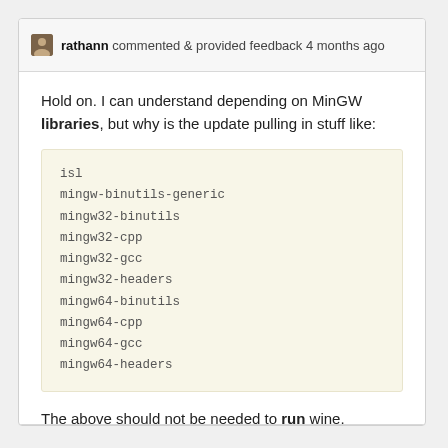rathann commented & provided feedback 4 months ago
Hold on. I can understand depending on MinGW libraries, but why is the update pulling in stuff like:
isl
mingw-binutils-generic
mingw32-binutils
mingw32-cpp
mingw32-gcc
mingw32-headers
mingw64-binutils
mingw64-cpp
mingw64-gcc
mingw64-headers
The above should not be needed to run wine.